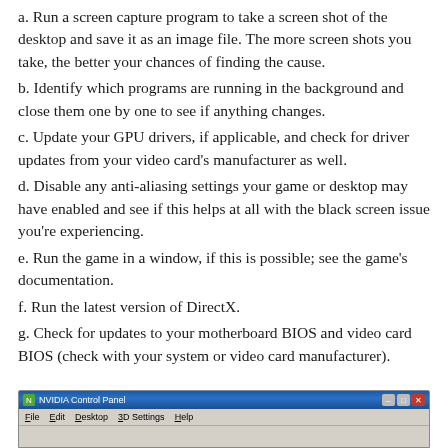a. Run a screen capture program to take a screen shot of the desktop and save it as an image file. The more screen shots you take, the better your chances of finding the cause.
b. Identify which programs are running in the background and close them one by one to see if anything changes.
c. Update your GPU drivers, if applicable, and check for driver updates from your video card’s manufacturer as well.
d. Disable any anti-aliasing settings your game or desktop may have enabled and see if this helps at all with the black screen issue you’re experiencing.
e. Run the game in a window, if this is possible; see the game’s documentation.
f. Run the latest version of DirectX.
g. Check for updates to your motherboard BIOS and video card BIOS (check with your system or video card manufacturer).
[Figure (screenshot): NVIDIA Control Panel application window showing the title bar and menu bar with File, Edit, Desktop, 3D Settings, Help menus.]